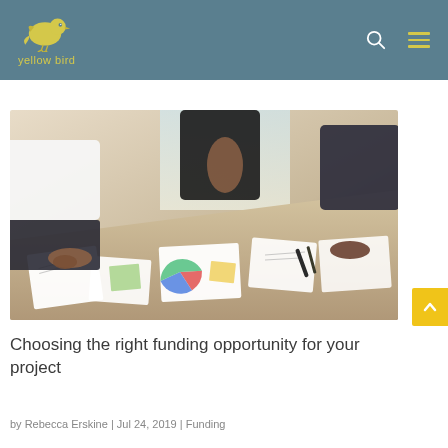yellow bird
[Figure (photo): People gathered around a table covered with charts, documents, and papers, collaborating in a business meeting setting. Shot from above and to the side, showing hands pointing at documents and a pie chart visible on one paper.]
Choosing the right funding opportunity for your project
by Rebecca Erskine | Jul 24, 2019 | Funding